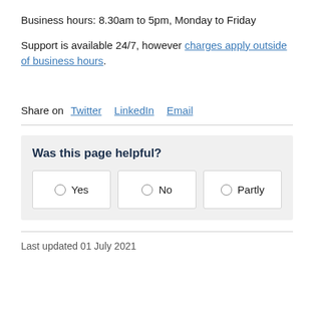Business hours: 8.30am to 5pm, Monday to Friday
Support is available 24/7, however charges apply outside of business hours.
Share on  Twitter  LinkedIn  Email
Was this page helpful?
Yes  No  Partly
Last updated 01 July 2021